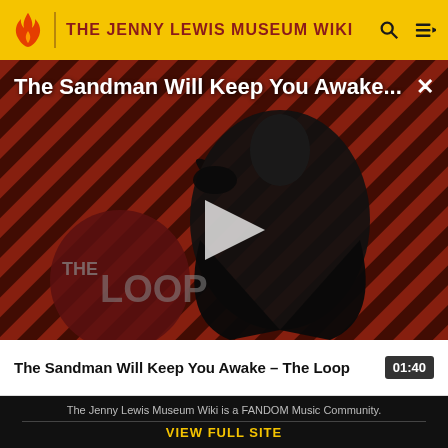THE JENNY LEWIS MUSEUM WIKI
[Figure (screenshot): Video thumbnail for 'The Sandman Will Keep You Awake - The Loop' showing a dark figure in a black cape on a red and black diagonal striped background with 'THE LOOP' text visible. A large play button triangle is centered on the image.]
The Sandman Will Keep You Awake...
The Sandman Will Keep You Awake - The Loop   01:40
The Jenny Lewis Museum Wiki is a FANDOM Music Community.
VIEW FULL SITE